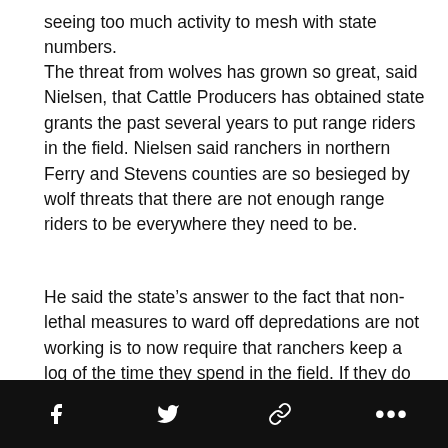seeing too much activity to mesh with state numbers.
The threat from wolves has grown so great, said Nielsen, that Cattle Producers has obtained state grants the past several years to put range riders in the field. Nielsen said ranchers in northern Ferry and Stevens counties are so besieged by wolf threats that there are not enough range riders to be everywhere they need to be.
He said the state’s answer to the fact that non-lethal measures to ward off depredations are not working is to now require that ranchers keep a log of the time they spend in the field. If they do not produce a detailed account of their watchdog activities, they cannot qualify for compensation when there are losses. That log even has to note their movement on private lands.
“Ranchers don’t work for the state,” said Krotz. “Why should [the state can’t ... wolf
[Figure (other): Social media sharing bar with Facebook, Twitter, link, and more options icons on black background]